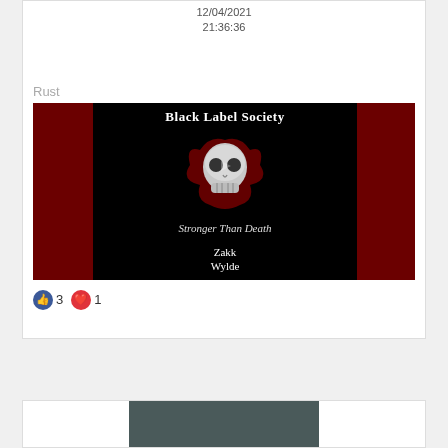12/04/2021
21:36:36
Rust
[Figure (illustration): Black Label Society album art for 'Stronger Than Death' featuring a skull on black background with red tribal designs and text 'Zakk Wylde']
👍 3 ❤️ 1